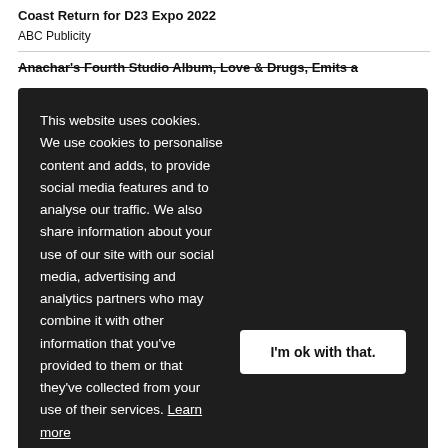Coast Return for D23 Expo 2022
ABC Publicity
Anarchs's Fourth Studio Album, Love & Drugs, Emits a
This website uses cookies. We use cookies to personalise content and adds, to provide social media features and to analyse our traffic. We also share information about your use of our site with our social media, advertising and analytics partners who may combine it with other information that you've provided to them or that they've collected from your use of their services. Learn more
I'm ok with that.
Ken Bauer Releases New Hit 'Rave Rider'
Matt Caldwell PR